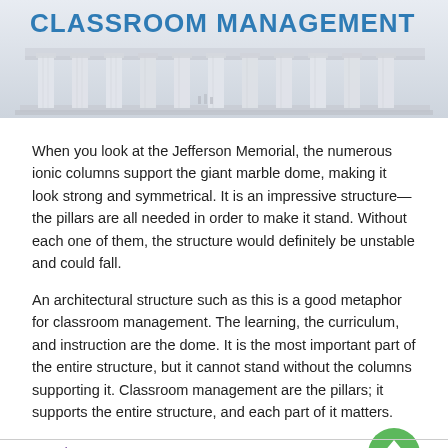[Figure (photo): Header image showing white ionic columns of the Jefferson Memorial with text overlay 'CLASSROOM MANAGEMENT' in bold blue uppercase letters]
When you look at the Jefferson Memorial, the numerous ionic columns support the giant marble dome, making it look strong and symmetrical. It is an impressive structure—the pillars are all needed in order to make it stand. Without each one of them, the structure would definitely be unstable and could fall.
An architectural structure such as this is a good metaphor for classroom management. The learning, the curriculum, and instruction are the dome. It is the most important part of the entire structure, but it cannot stand without the columns supporting it. Classroom management are the pillars; it supports the entire structure, and each part of it matters.
Read More